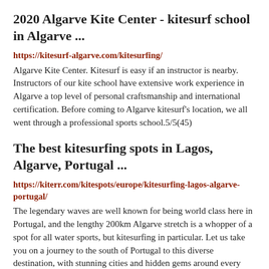2020 Algarve Kite Center - kitesurf school in Algarve ...
https://kitesurf-algarve.com/kitesurfing/
Algarve Kite Center. Kitesurf is easy if an instructor is nearby. Instructors of our kite school have extensive work experience in Algarve a top level of personal craftsmanship and international certification. Before coming to Algarve kitesurf's location, we all went through a professional sports school.5/5(45)
The best kitesurfing spots in Lagos, Algarve, Portugal ...
https://kiterr.com/kitespots/europe/kitesurfing-lagos-algarve-portugal/
The legendary waves are well known for being world class here in Portugal, and the lengthy 200km Algarve stretch is a whopper of a spot for all water sports, but kitesurfing in particular. Let us take you on a journey to the south of Portugal to this diverse destination, with stunning cities and hidden gems around every